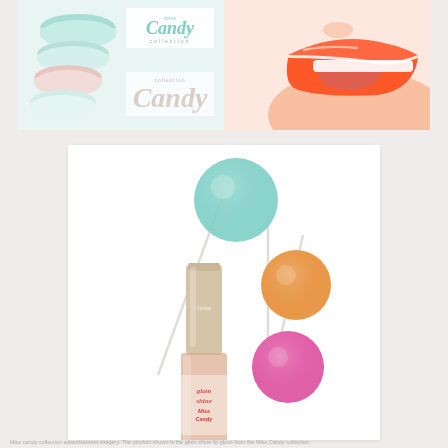[Figure (photo): Miss Candy collection cosmetics advertisement banner showing colorful macarons on left side with Miss Candy branding logo overlaid, and close-up of lips with orange lipstick on right side]
[Figure (photo): Product photo of L'Oreal Glam Shine Miss Candy lip gloss bottle next to three colorful lollipops in teal, orange, and pink on white background]
Miss candy collection advertisement imagery